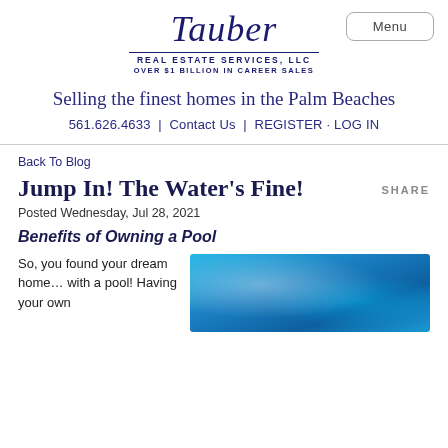[Figure (logo): Tauber Real Estate Services, LLC logo with script font. Text: 'Tauber REAL ESTATE SERVICES, LLC OVER $1 BILLION IN CAREER SALES']
Menu
Selling the finest homes in the Palm Beaches
561.626.4633 | Contact Us | REGISTER · LOG IN
Back To Blog
Jump In! The Water's Fine!
SHARE
Posted Wednesday, Jul 28, 2021
Benefits of Owning a Pool
So, you found your dream home… with a pool! Having your own
[Figure (photo): Aerial photo of a bright blue swimming pool with rippling water and what appears to be a person swimming.]